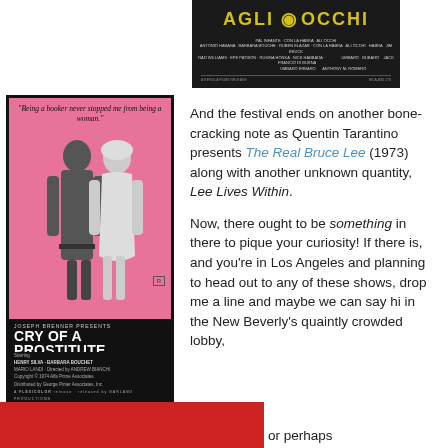[Figure (photo): Movie poster for 'Agli Occhi' shown on dark background with yellow stylized text]
[Figure (photo): Movie poster for 'Cry of a Prostitute' (Joseph Brenner Presents) on pink background featuring Henry Silva and Barbara Bouchet, directed by Andrew Bianchi, rated R]
And the festival ends on another bone-cracking note as Quentin Tarantino presents The Real Bruce Lee (1973) along with another unknown quantity, Lee Lives Within.

Now, there ought to be something in there to pique your curiosity! If there is, and you're in Los Angeles and planning to head out to any of these shows, drop me a line and maybe we can say hi in the New Beverly's quaintly crowded lobby, or perhaps
[Figure (photo): Partial view of another movie poster at the bottom of the page, red background]